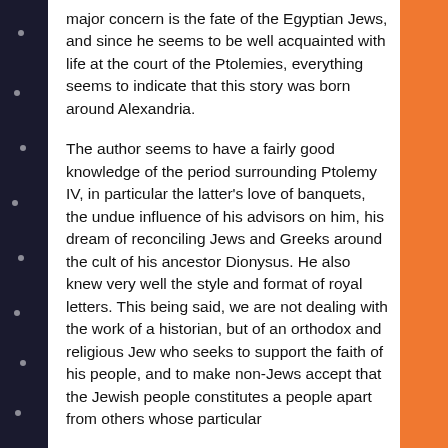major concern is the fate of the Egyptian Jews, and since he seems to be well acquainted with life at the court of the Ptolemies, everything seems to indicate that this story was born around Alexandria.
The author seems to have a fairly good knowledge of the period surrounding Ptolemy IV, in particular the latter's love of banquets, the undue influence of his advisors on him, his dream of reconciling Jews and Greeks around the cult of his ancestor Dionysus. He also knew very well the style and format of royal letters. This being said, we are not dealing with the work of a historian, but of an orthodox and religious Jew who seeks to support the faith of his people, and to make non-Jews accept that the Jewish people constitutes a people apart from others whose particular